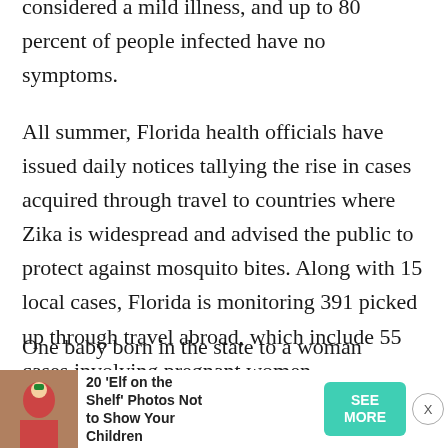considered a mild illness, and up to 80 percent of people infected have no symptoms.
All summer, Florida health officials have issued daily notices tallying the rise in cases acquired through travel to countries where Zika is widespread and advised the public to protect against mosquito bites. Along with 15 local cases, Florida is monitoring 391 picked up through travel abroad, which include 55 cases involving pregnant women.
One baby born in the state to a woman infected in Haiti has been diagnosed with the birth defect microcephaly, a condi... to deta...
[Figure (other): Advertisement banner at bottom of page: '20 Elf on the Shelf Photos Not to Show Your Children' with a SEE MORE button and a close (X) button]